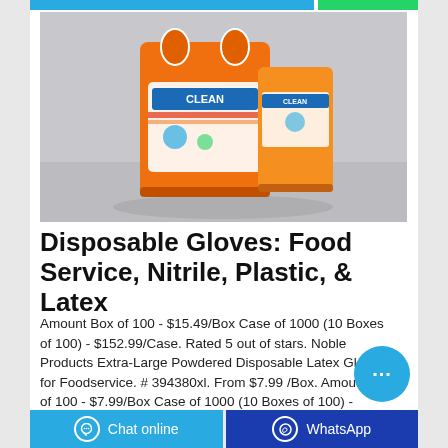[Figure (photo): Orange product bag (detergent/cleaning supply brand) on gray background with two packages shown, one large orange bag and a smaller product behind it.]
Disposable Gloves: Food Service, Nitrile, Plastic, & Latex
Amount Box of 100 - $15.49/Box Case of 1000 (10 Boxes of 100) - $152.99/Case. Rated 5 out of stars. Noble Products Extra-Large Powdered Disposable Latex Gloves for Foodservice. # 394380xl. From $7.99 /Box. Amount Box of 100 - $7.99/Box Case of 1000 (10 Boxes of 100) - $69.99/Case.
Chat online | WhatsApp